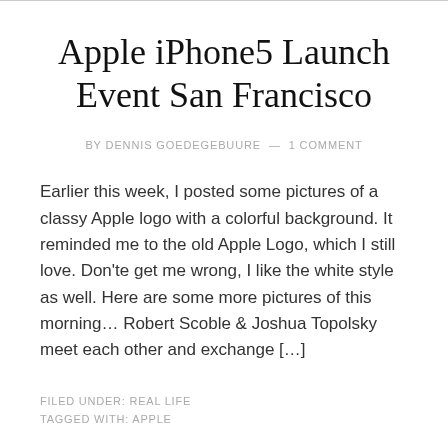Apple iPhone5 Launch Event San Francisco
BY DENNIS GOEDEGEBUURE — 1 COMMENT
Earlier this week, I posted some pictures of a classy Apple logo with a colorful background. It reminded me to the old Apple Logo, which I still love. Don'te get me wrong, I like the white style as well. Here are some more pictures of this morning… Robert Scoble & Joshua Topolsky meet each other and exchange […]
FILED UNDER: REAL LIFE
TAGGED WITH: APPLE